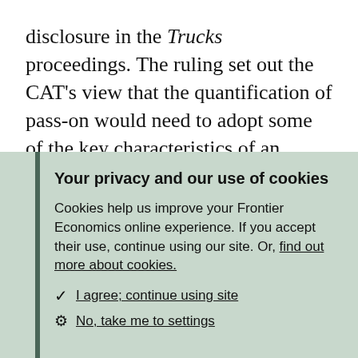disclosure in the Trucks proceedings. The ruling set out the CAT's view that the quantification of pass-on would need to adopt some of the key characteristics of an overcharge-style approach, including the application of "established economic techniques" and large volumes of
Your privacy and our use of cookies
Cookies help us improve your Frontier Economics online experience. If you accept their use, continue using our site. Or, find out more about cookies.
I agree; continue using site
No, take me to settings